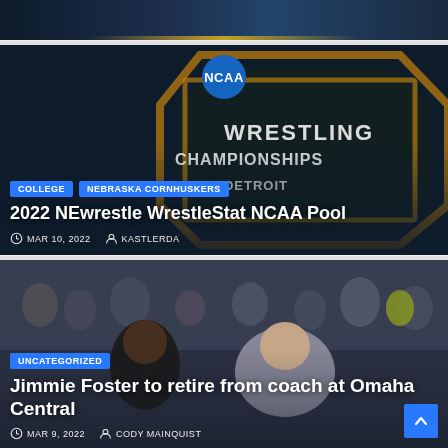[Figure (photo): Partial top image, dark background with gold/blue elements visible at bottom edge]
[Figure (photo): NCAA Wrestling Championships Detroit backdrop with blue NCAA logo circle at top]
COLLEGE
NEBRASKA CORNHUSKERS
2022 NEwrestle WrestleStat NCAA Pool
MAR 10, 2022  KASTLERDA
[Figure (photo): Two men sitting on a bench in a sports arena, crowd in background]
UNCATEGORIZED
Jimmie Foster to retire from coach at Omaha Central
MAR 9, 2022  CODY MAINQUIST